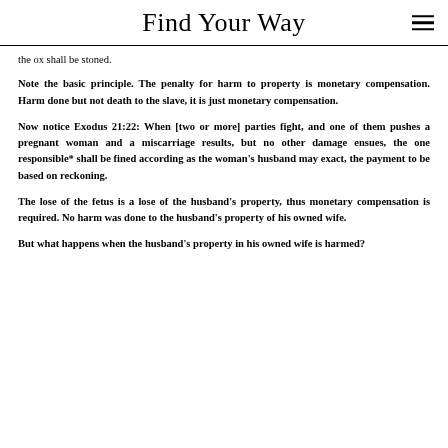Find Your Way
the ox shall be stoned.
Note the basic principle. The penalty for harm to property is monetary compensation. Harm done but not death to the slave, it is just monetary compensation.
Now notice Exodus 21:22: When [two or more] parties fight, and one of them pushes a pregnant woman and a miscarriage results, but no other damage ensues, the one responsible* shall be fined according as the woman's husband may exact, the payment to be based on reckoning.
The lose of the fetus is a lose of the husband's property, thus monetary compensation is required. No harm was done to the husband's property of his owned wife.
But what happens when the husband's property in his owned wife is harmed?